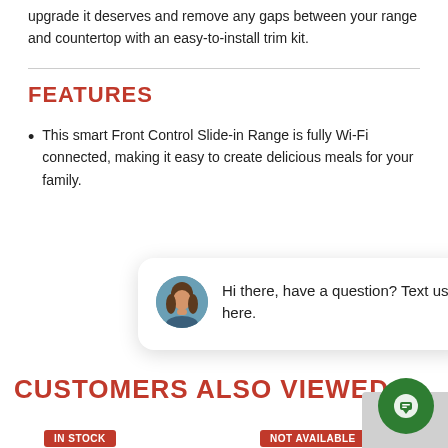upgrade it deserves and remove any gaps between your range and countertop with an easy-to-install trim kit.
FEATURES
This smart Front Control Slide-in Range is fully Wi-Fi connected, making it easy to create delicious meals for your family.
[Figure (other): Chat popup widget with avatar of a woman and text: Hi there, have a question? Text us here. With a close button above.]
CUSTOMERS ALSO VIEWED
IN STOCK
NOT AVAILABLE